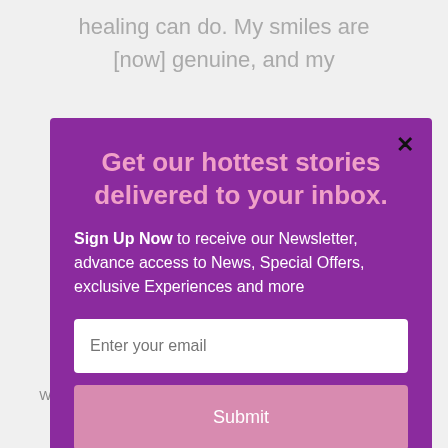healing can do. My smiles are [now] genuine, and my
[Figure (screenshot): Email newsletter signup modal popup with purple background. Contains title 'Get our hottest stories delivered to your inbox.', body text 'Sign Up Now to receive our Newsletter, advance access to News, Special Offers, exclusive Experiences and more', an email input field, and a Submit button. A close (X) button is in the top-right corner.]
We'll assume you're ok with this, but you can opt-out if you wish.
Accept   Read More